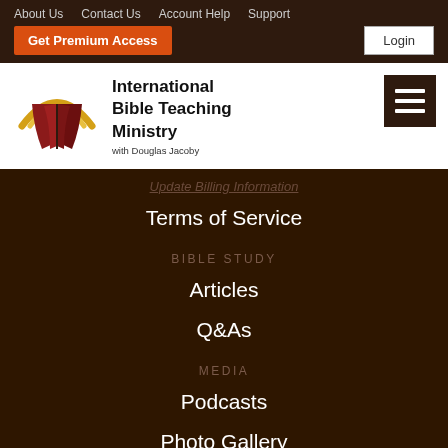About Us  Contact Us  Account Help  Support
Get Premium Access  Login
[Figure (logo): International Bible Teaching Ministry logo with open book and golden arch]
International Bible Teaching Ministry with Douglas Jacoby
Update Billing Information
Terms of Service
BIBLE STUDY
Articles
Q&As
MEDIA
Podcasts
Photo Gallery